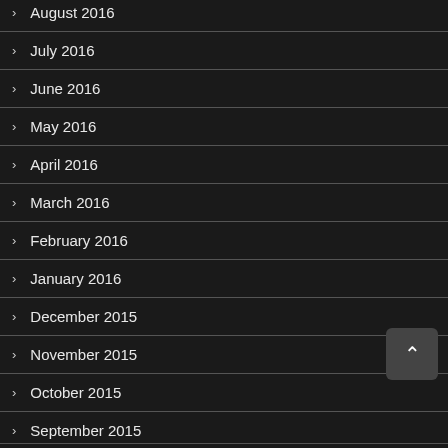August 2016
July 2016
June 2016
May 2016
April 2016
March 2016
February 2016
January 2016
December 2015
November 2015
October 2015
September 2015